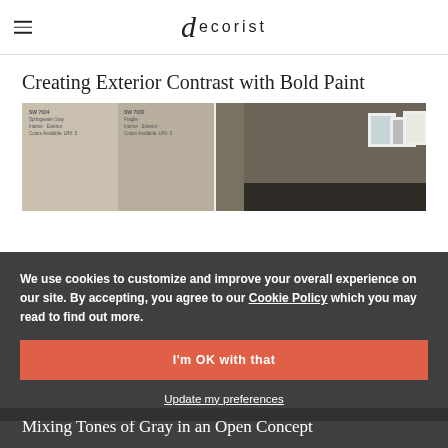decorist
Creating Exterior Contrast with Bold Paint
[Figure (photo): Two paint swatches on the left (beige/taupe tones) next to a room interior photo on the right showing dark olive/taupe walls with framed art and dark furniture.]
We use cookies to customize and improve your overall experience on our site. By accepting, you agree to our Cookie Policy which you may read to find out more.
I'm OK with that
Update my preferences
Mixing Tones of Gray in an Open Concept